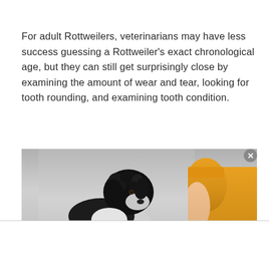For adult Rottweilers, veterinarians may have less success guessing a Rottweiler's exact chronological age, but they can still get surprisingly close by examining the amount of wear and tear, looking for tooth rounding, and examining tooth condition.
[Figure (photo): A black and white curly-haired dog sitting and facing slightly right, with a person in a yellow short-sleeve shirt visible on the right side, taken indoors with a light grey background]